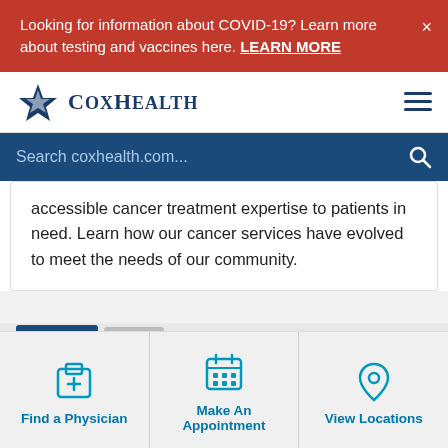Looking for information about COVID-19? Learn more about testing and vaccines here. LEARN MORE
[Figure (logo): CoxHealth logo with star/diamond icon]
Search coxhealth.com...
accessible cancer treatment expertise to patients in need. Learn how our cancer services have evolved to meet the needs of our community.
Find a Physician
Make An Appointment
View Locations